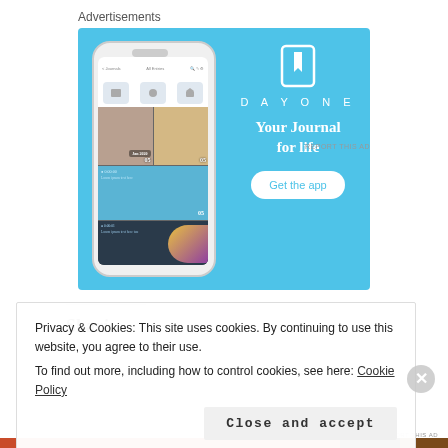Advertisements
[Figure (screenshot): Day One journal app advertisement banner with blue background, showing a phone mockup with the app UI on the left, and the Day One logo, wordmark 'DAYONE', tagline 'Your Journal for life', and a 'Get the app' button on the right]
REPORT THIS AD
Privacy & Cookies: This site uses cookies. By continuing to use this website, you agree to their use.
To find out more, including how to control cookies, see here: Cookie Policy
Close and accept